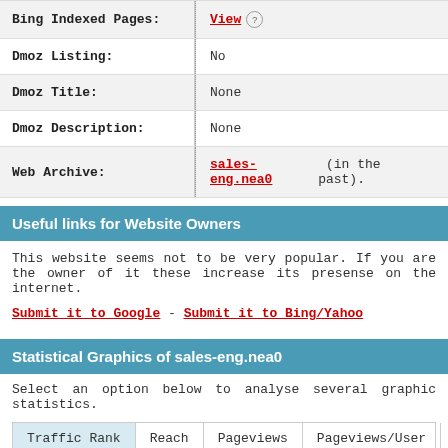| Field | Value |
| --- | --- |
| Bing Indexed Pages: | View ? |
| Dmoz Listing: | No |
| Dmoz Title: | None |
| Dmoz Description: | None |
| Web Archive: | sales-eng.nea0 (in the past). |
Useful links for Website Owners
This website seems not to be very popular. If you are the owner of it these increase its presense on the internet.
Submit it to Google - Submit it to Bing/Yahoo
Statistical Graphics of sales-eng.nea0
Select an option below to analyse several graphic statistics.
| Traffic Rank | Reach | Pageviews | Pageviews/User | Bounce % |
| --- | --- | --- | --- | --- |